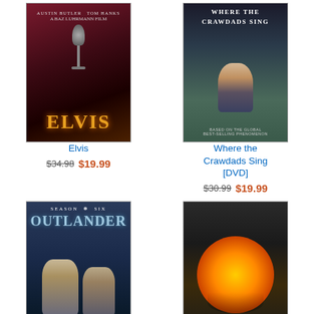[Figure (photo): DVD cover of Elvis movie featuring Austin Butler and Tom Hanks]
Elvis
$34.98 $19.99
[Figure (photo): DVD cover of Where the Crawdads Sing]
Where the Crawdads Sing [DVD]
$30.99 $19.99
[Figure (photo): DVD cover of Outlander Season Six - The Heart of the Storm]
Outlander - Season
[Figure (photo): DVD cover of Jurassic World Dominion]
Jurassic World